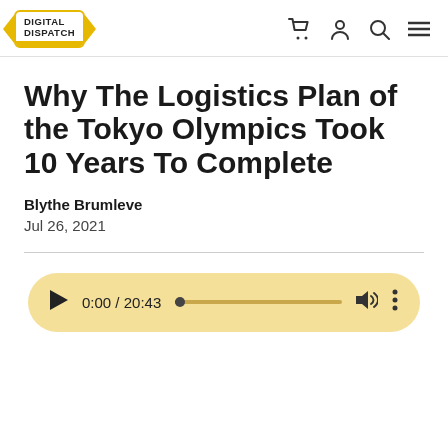Digital Dispatch
Why The Logistics Plan of the Tokyo Olympics Took 10 Years To Complete
Blythe Brumleve
Jul 26, 2021
[Figure (other): Audio player widget showing 0:00 / 20:43 with play button, progress bar, volume icon, and options menu on a tan/yellow background]